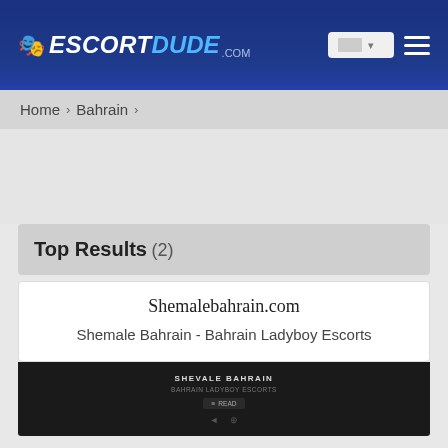[Figure (logo): EscortDude.com logo with blue and white text on dark blue header background]
Home > Bahrain >
Top Results (2)
Shemalebahrain.com
Shemale Bahrain - Bahrain Ladyboy Escorts
[Figure (screenshot): Screenshot preview of Shemale Bahrain website with dark background]